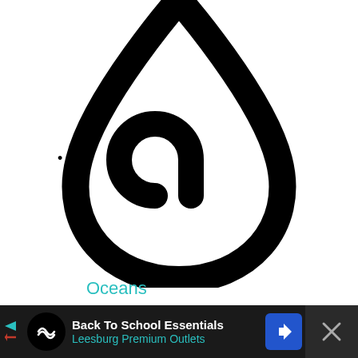[Figure (illustration): Large black water drop / ink drop icon outline with a swirl/curl inside, on white background. A small bullet point is visible to the left side.]
•
Oceans
[Figure (screenshot): Advertisement bar at the bottom: dark background with 'Back To School Essentials' in white bold text and 'Leesburg Premium Outlets' in teal/cyan text, with a circular logo icon, a navigation arrow icon, and an X close button on the right.]